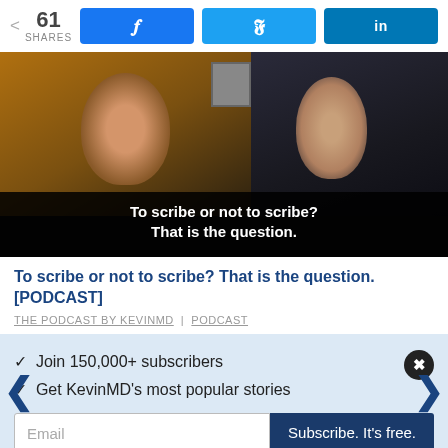< 61 SHARES
[Figure (screenshot): Video thumbnail showing two people on a video call with subtitle text 'To scribe or not to scribe? That is the question.']
To scribe or not to scribe? That is the question. [PODCAST]
THE PODCAST BY KEVINMD | PODCAST
✓ Join 150,000+ subscribers
✓ Get KevinMD's most popular stories
Email | Subscribe. It's free.